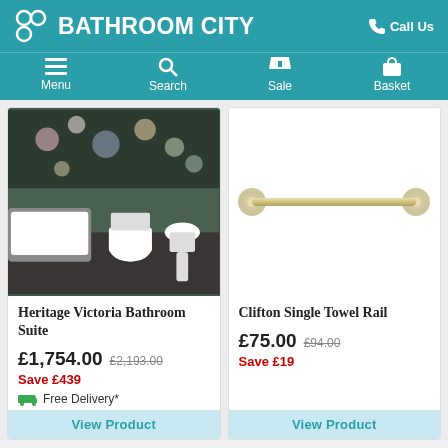BATHROOM CITY — Call Us
[Figure (screenshot): Navigation bar with Menu, Search, Sale, Basket icons]
[Figure (photo): Heritage Victoria Bathroom Suite — bathroom showroom photo with bath, toilet, pedestal sink, floral wallpaper]
Heritage Victoria Bathroom Suite
£1,754.00  £2,193.00  Save £439
Free Delivery*
View Product
[Figure (photo): Clifton Single Towel Rail — chrome/gold finish single bar towel rail on white background]
Clifton Single Towel Rail
£75.00  £94.00  Save £19
View Product